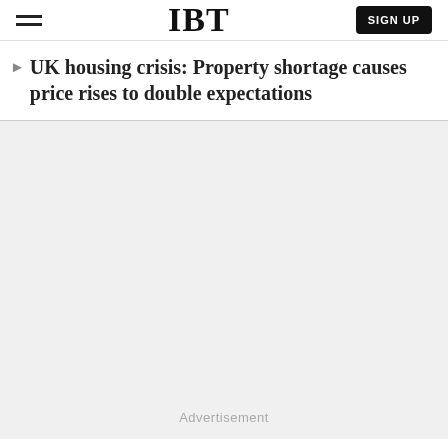IBT | SIGN UP
UK housing crisis: Property shortage causes price rises to double expectations
Advertisement